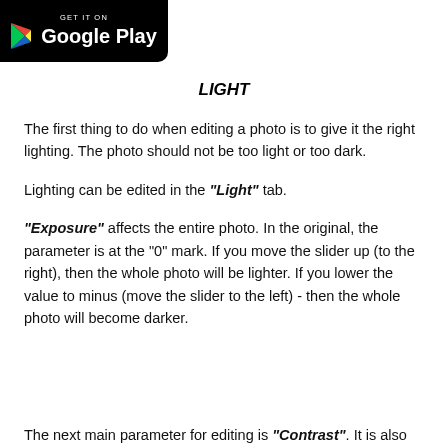[Figure (logo): Google Play badge with black background, play button triangle icon, and 'GET IT ON Google Play' text in white]
LIGHT
The first thing to do when editing a photo is to give it the right lighting. The photo should not be too light or too dark.
Lighting can be edited in the "Light" tab.
"Exposure" affects the entire photo. In the original, the parameter is at the "0" mark. If you move the slider up (to the right), then the whole photo will be lighter. If you lower the value to minus (move the slider to the left) - then the whole photo will become darker.
The next main parameter for editing is "Contrast". It is also